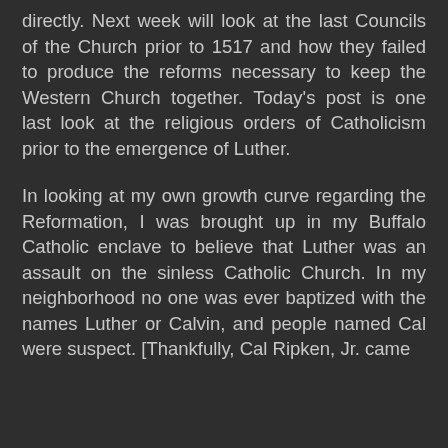directly. Next week will look at the last Councils of the Church prior to 1517 and how they failed to produce the reforms necessary to keep the Western Church together. Today's post is one last look at the religious orders of Catholicism prior to the emergence of Luther.
In looking at my own growth curve regarding the Reformation, I was brought up in my Buffalo Catholic enclave to believe that Luther was an assault on the sinless Catholic Church. In my neighborhood no one was ever baptized with the names Luther or Calvin, and people named Cal were suspect. [Thankfully, Cal Ripken, Jr. came